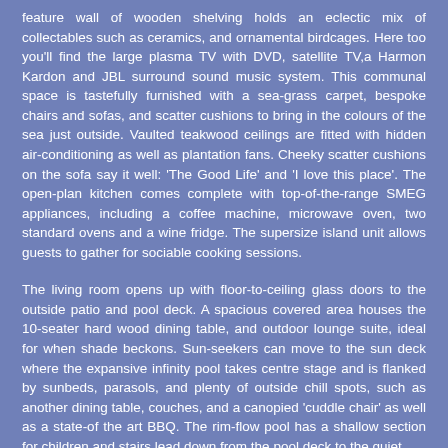feature wall of wooden shelving holds an eclectic mix of collectables such as ceramics, and ornamental birdcages. Here too you'll find the large plasma TV with DVD, satellite TV,a Harmon Kardon and JBL surround sound music system. This communal space is tastefully furnished with a sea-grass carpet, bespoke chairs and sofas, and scatter cushions to bring in the colours of the sea just outside. Vaulted teakwood ceilings are fitted with hidden air-conditioning as well as plantation fans. Cheeky scatter cushions on the sofa say it well: 'The Good Life' and 'I love this place'. The open-plan kitchen comes complete with top-of-the-range SMEG appliances, including a coffee machine, microwave oven, two standard ovens and a wine fridge. The supersize island unit allows guests to gather for sociable cooking sessions.
The living room opens up with floor-to-ceiling glass doors to the outside patio and pool deck. A spacious covered area houses the 10-seater hard wood dining table, and outdoor lounge suite, ideal for when shade beckons. Sun-seekers can move to the sun deck where the expansive infinity pool takes centre stage and is flanked by sunbeds, parasols, and plenty of outside chill spots, such as another dining table, couches, and a canopied 'cuddle chair' as well as a state-of the art BBQ. The rim-flow pool has a shallow section for children and stairs lead down from the pool deck to the quiet